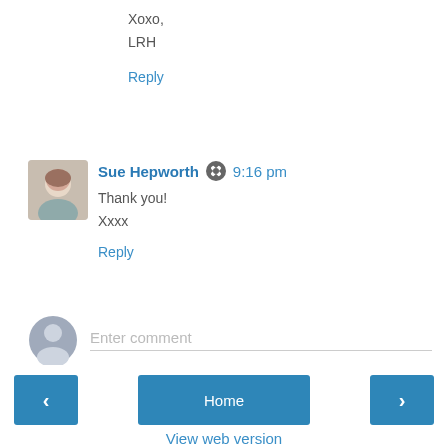Xoxo,
LRH
Reply
Sue Hepworth  9:16 pm
Thank you!
Xxxx
Reply
Enter comment
Home
View web version
Powered by Blogger.